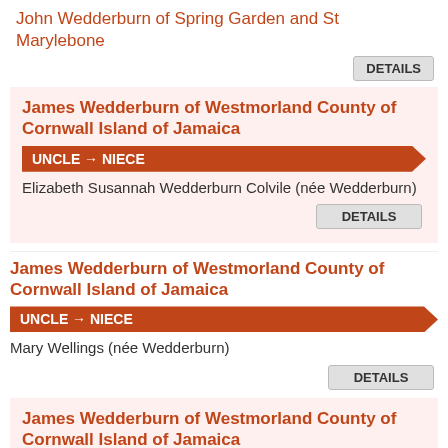John Wedderburn of Spring Garden and St Marylebone
DETAILS
James Wedderburn of Westmorland County of Cornwall Island of Jamaica
UNCLE → NIECE
Elizabeth Susannah Wedderburn Colvile (née Wedderburn)
DETAILS
James Wedderburn of Westmorland County of Cornwall Island of Jamaica
UNCLE → NIECE
Mary Wellings (née Wedderburn)
DETAILS
James Wedderburn of Westmorland County of Cornwall Island of Jamaica
UNCLE → NIECE
Catherine Susanna Stirling (née Wedderburn)